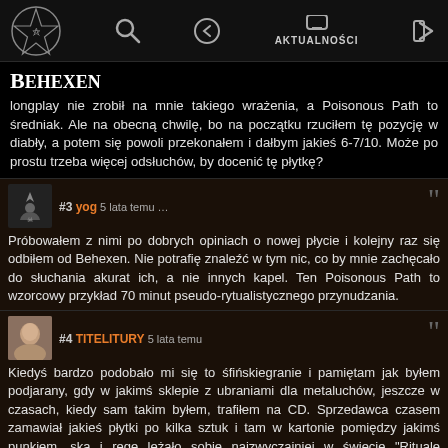AKTUALNOŚCI
Behexen
longplay nie zrobił na mnie takiego wrażenia, a Poisonous Path to średniak. Ale na obecną chwilę, bo na początku rzuciłem tę pozycję w diabły, a potem się powoli przekonałem i dałbym jakieś 6-7/10. Może po prostu trzeba więcej odsłuchów, by docenić tę płytkę?
#3 yog 5 lata temu
Próbowałem z nimi po dobrych opiniach o nowej płycie i kolejny raz się odbiłem od Behexen. Nie potrafię znaleźć w tym nic, co by mnie zachęcało do słuchania akurat ich, a nie innych kapel. Ten Poisonous Path to wzorcowy przykład 70 minut pseudo-rytualistycznego przynudzania.
#4 TITELITURY 5 lata temu
Kiedyś bardzo podobało mi się to śfińskiegranie i pamiętam jak byłem podjarany, gdy w jakimś sklepie z ubraniami dla metaluchów, jeszcze w czasach, kiedy sam takim byłem, trafiłem na CD. Sprzedawca czasem zamawiał jakieś płytki po kilka sztuk i tam w kartonie pomiędzy jakimś punkiem, ska i rege leżało sobie najzwyczajniej w świecie "Rituale Satanum". Dawno, daaawno się słuchałem, ale pamiętam, że przypadły mi